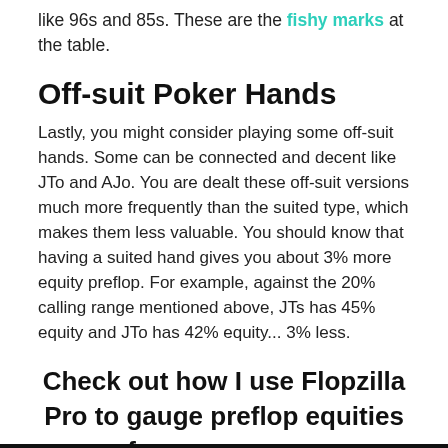like 96s and 85s. These are the fishy marks at the table.
Off-suit Poker Hands
Lastly, you might consider playing some off-suit hands. Some can be connected and decent like JTo and AJo. You are dealt these off-suit versions much more frequently than the suited type, which makes them less valuable. You should know that having a suited hand gives you about 3% more equity preflop. For example, against the 20% calling range mentioned above, JTs has 45% equity and JTo has 42% equity... 3% less.
Check out how I use Flopzilla Pro to gauge preflop equities of range vs range: